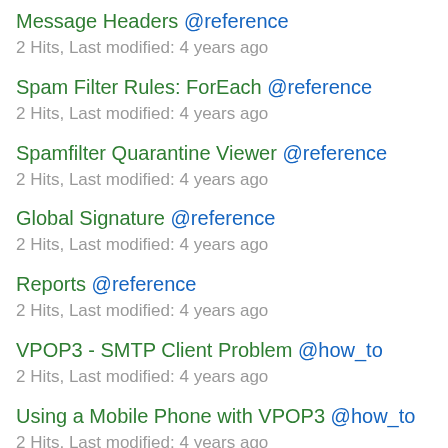Message Headers @reference
2 Hits, Last modified: 4 years ago
Spam Filter Rules: ForEach @reference
2 Hits, Last modified: 4 years ago
Spamfilter Quarantine Viewer @reference
2 Hits, Last modified: 4 years ago
Global Signature @reference
2 Hits, Last modified: 4 years ago
Reports @reference
2 Hits, Last modified: 4 years ago
VPOP3 - SMTP Client Problem @how_to
2 Hits, Last modified: 4 years ago
Using a Mobile Phone with VPOP3 @how_to
2 Hits, Last modified: 4 years ago